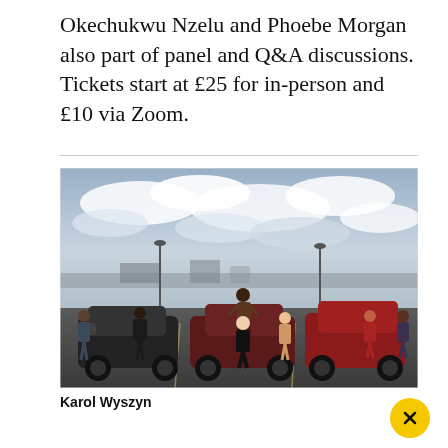Okechukwu Nzelu and Phoebe Morgan also part of panel and Q&A discussions. Tickets start at £25 for in-person and £10 via Zoom.
[Figure (photo): Group of people standing in a car park with three cars — a black car on the left, a dark red/maroon car in the middle, and a red hatchback on the right. One person stands on top of the middle car. Overcast sky in the background with a city skyline.]
Karol Wyszyn